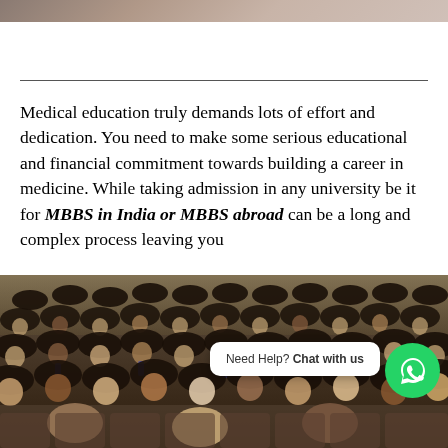[Figure (photo): Top strip of a photo partially visible at top of page showing people]
Medical education truly demands lots of effort and dedication. You need to make some serious educational and financial commitment towards building a career in medicine. While taking admission in any university be it for MBBS in India or MBBS abroad can be a long and complex process leaving you
[Figure (photo): Large group photo of medical students in graduation gowns and caps sitting in an auditorium, diverse group of students wearing black graduation attire with blue accents]
Need Help? Chat with us